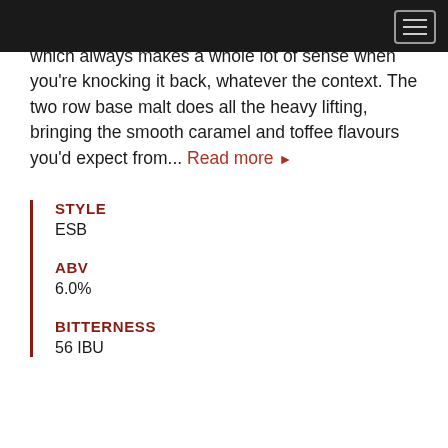which always makes a whole lot of sense when you're knocking it back, whatever the context. The two row base malt does all the heavy lifting, bringing the smooth caramel and toffee flavours you'd expect from... Read more ▶
STYLE
ESB
ABV
6.0%
BITTERNESS
56 IBU